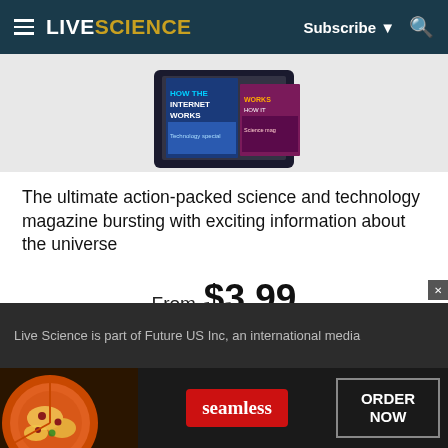LIVESCIENCE  Subscribe  [search]
[Figure (photo): Tablet and phone displaying magazine covers including 'How the Internet Works' and another science/technology magazine]
The ultimate action-packed science and technology magazine bursting with exciting information about the universe
From $3.99
VIEW
Live Science is part of Future US Inc, an international media
[Figure (screenshot): Seamless food delivery advertisement banner with pizza image, seamless logo, and ORDER NOW button]